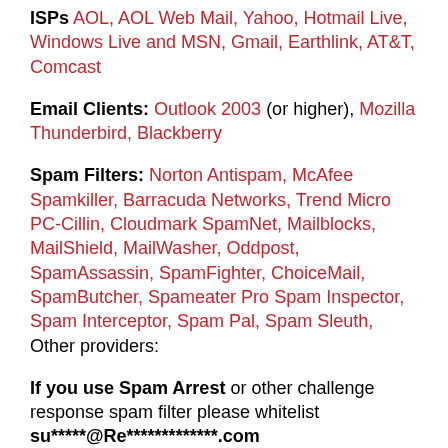ISPs AOL, AOL Web Mail, Yahoo, Hotmail Live, Windows Live and MSN, Gmail, Earthlink, AT&T, Comcast
Email Clients: Outlook 2003 (or higher), Mozilla Thunderbird, Blackberry
Spam Filters: Norton Antispam, McAfee Spamkiller, Barracuda Networks, Trend Micro PC-Cillin, Cloudmark SpamNet, Mailblocks, MailShield, MailWasher, Oddpost, SpamAssassin, SpamFighter, ChoiceMail, SpamButcher, Spameater Pro Spam Inspector, Spam Interceptor, Spam Pal, Spam Sleuth, Other providers:
If you use Spam Arrest or other challenge response spam filter please whitelist su*****@Re*************.com